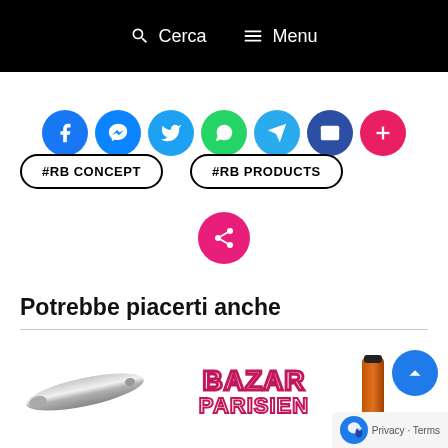Cerca   Menu
[Figure (infographic): Row of 7 social sharing icon buttons: Facebook (blue), Messenger (blue), Twitter (blue), WhatsApp (green), Telegram (light blue), Email (dark blue), More/Plus (red-pink)]
#RB CONCEPT
#RB PRODUCTS
[Figure (infographic): Pink/red circular share button with share icon]
Potrebbe piacerti anche
[Figure (photo): Bottom strip showing partial product images: a metallic tool/pen on left, Bazar Parisien logo text in center, orange product on right]